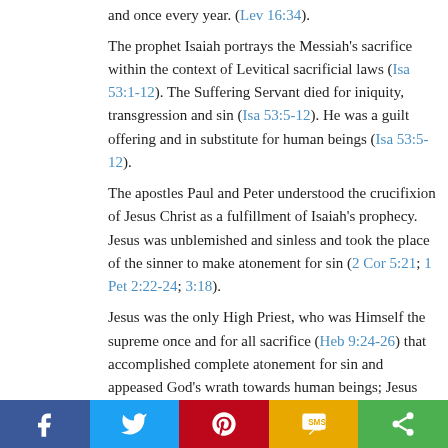and once every year. (Lev 16:34).
The prophet Isaiah portrays the Messiah's sacrifice within the context of Levitical sacrificial laws (Isa 53:1-12). The Suffering Servant died for iniquity, transgression and sin (Isa 53:5-12). He was a guilt offering and in substitute for human beings (Isa 53:5-12).
The apostles Paul and Peter understood the crucifixion of Jesus Christ as a fulfillment of Isaiah's prophecy. Jesus was unblemished and sinless and took the place of the sinner to make atonement for sin (2 Cor 5:21; 1 Pet 2:22-24; 3:18).
Jesus was the only High Priest, who was Himself the supreme once and for all sacrifice (Heb 9:24-26) that accomplished complete atonement for sin and appeased God's wrath towards human beings; Jesus became the mediator of the New Covenant.
The high priest applied the blood of the sacrifice on the
[Figure (infographic): Social sharing bar with Facebook, Twitter, Pinterest, SMS, and Share buttons]